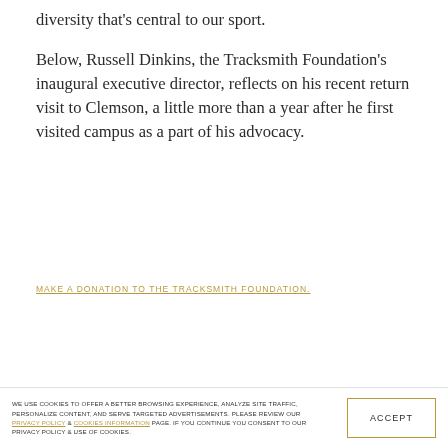diversity that's central to our sport.
Below, Russell Dinkins, the Tracksmith Foundation's inaugural executive director, reflects on his recent return visit to Clemson, a little more than a year after he first visited campus as a part of his advocacy.
MAKE A DONATION TO THE TRACKSMITH FOUNDATION.
WE USE COOKIES TO OFFER A BETTER BROWSING EXPERIENCE, ANALYZE SITE TRAFFIC, PERSONALIZE CONTENT, AND SERVE TARGETED ADVERTISEMENTS. PLEASE REVIEW OUR PRIVACY POLICY & COOKIES INFORMATION PAGE. IF YOU CONTINUE YOU CONSENT TO OUR PRIVACY POLICY & USE OF COOKIES.